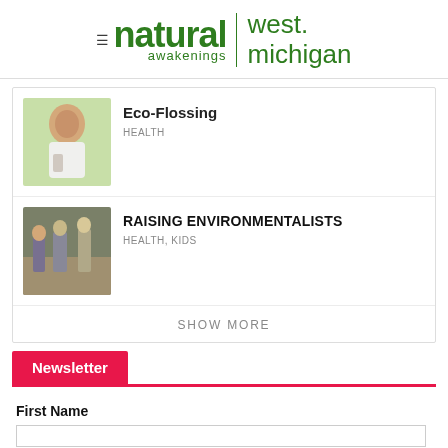[Figure (logo): Natural Awakenings West Michigan logo with green text and divider]
[Figure (photo): Man flossing his teeth, smiling, outdoor green background]
Eco-Flossing
HEALTH
[Figure (photo): Group of people outdoors on rocky terrain, raising arms]
RAISING ENVIRONMENTALISTS
HEALTH, KIDS
SHOW MORE
Newsletter
First Name